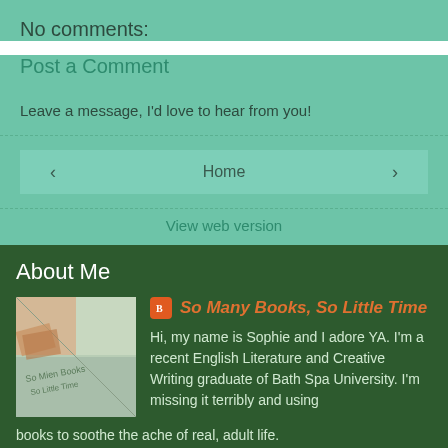No comments:
Post a Comment
Leave a message, I'd love to hear from you!
Home
View web version
About Me
[Figure (photo): Profile photo of blog 'So Many Books, So Little Time']
So Many Books, So Little Time
Hi, my name is Sophie and I adore YA. I'm a recent English Literature and Creative Writing graduate of Bath Spa University. I'm missing it terribly and using books to soothe the ache of real, adult life.
View my complete profile
Powered by Blogger.